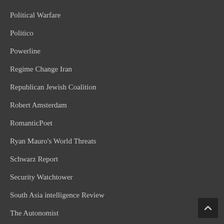Political Warfare
Politico
Powerline
Regime Change Iran
Republican Jewish Coalition
Robert Amsterdam
RomanticPoet
Ryan Mauro's World Threats
Schwarz Report
Security Watchtower
South Asia intelligence Review
The Autonomist